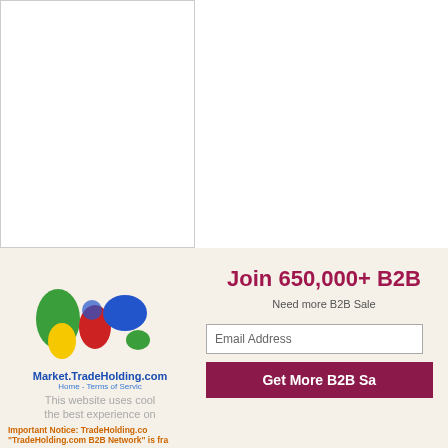[Figure (illustration): White rectangle area representing a cropped document or image placeholder]
[Figure (illustration): Colorful world map logo with continents in green, red, yellow, blue colors]
Market.TradeHolding.com
Home - Terms of Servic
This website uses cook the best experience on
Important Notice: TradeHolding.co "TradeHolding.com B2B Network" is fra
Learn more
All Trade Leads / Offers / Products / C Network shall not be held liable for any s
Join 650,000+ B2B
Need more B2B Sale
Email Address
Get More B2B Sa